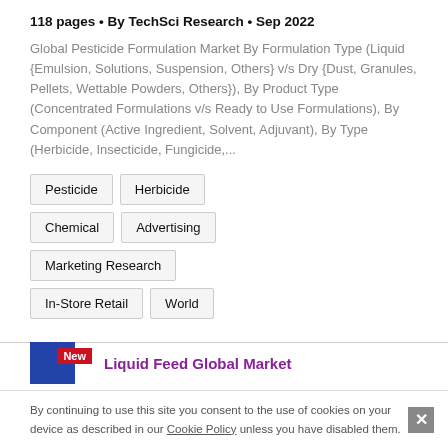118 pages • By TechSci Research • Sep 2022
Global Pesticide Formulation Market By Formulation Type (Liquid {Emulsion, Solutions, Suspension, Others} v/s Dry {Dust, Granules, Pellets, Wettable Powders, Others}), By Product Type (Concentrated Formulations v/s Ready to Use Formulations), By Component (Active Ingredient, Solvent, Adjuvant), By Type (Herbicide, Insecticide, Fungicide,...
Pesticide
Herbicide
Chemical
Advertising
Marketing Research
In-Store Retail
World
Liquid Feed Global Market
By continuing to use this site you consent to the use of cookies on your device as described in our Cookie Policy unless you have disabled them.